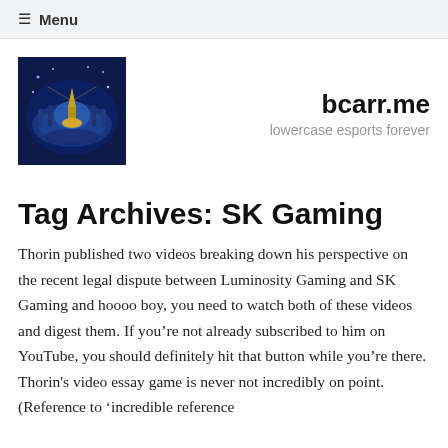≡ Menu
[Figure (logo): bcarr.me site logo — fantasy game scene with blue/gold colors]
bcarr.me
lowercase esports forever
Tag Archives: SK Gaming
Thorin published two videos breaking down his perspective on the recent legal dispute between Luminosity Gaming and SK Gaming and hoooo boy, you need to watch both of these videos and digest them. If you're not already subscribed to him on YouTube, you should definitely hit that button while you're there. Thorin's video essay game is never not incredibly on point. (Reference to 'incredible reference